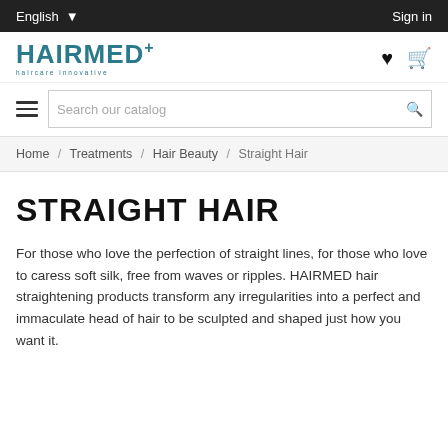English  Sign in
[Figure (logo): HAIRMED+ haircare innovative logo in teal/dark cyan color]
Search our catalog
Home / Treatments / Hair Beauty / Straight Hair
STRAIGHT HAIR
For those who love the perfection of straight lines, for those who love to caress soft silk, free from waves or ripples. HAIRMED hair straightening products transform any irregularities into a perfect and immaculate head of hair to be sculpted and shaped just how you want it.